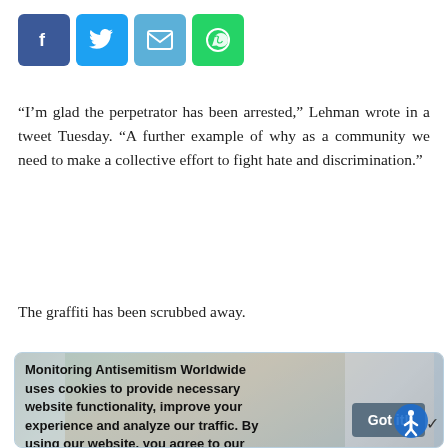[Figure (other): Social media share buttons: Facebook (blue), Twitter (light blue), Email (blue), WhatsApp (green)]
“I’m glad the perpetrator has been arrested,” Lehman wrote in a tweet Tuesday. “A further example of why as a community we need to make a collective effort to fight hate and discrimination.”
The graffiti has been scrubbed away.
[Figure (photo): Cookie consent overlay on top of a background photo. Text reads: 'Monitoring Antisemitism Worldwide uses cookies to provide necessary website functionality, improve your experience and analyze our traffic. By using our website, you agree to our Cookies Policy. Learn more'. A 'Got it!' button appears on the right. An accessibility icon is visible at the bottom right.]